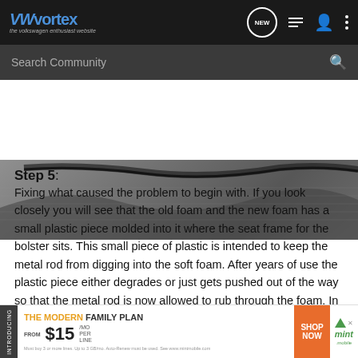VWvortex — the volkswagen enthusiast website
[Figure (photo): Close-up photo of car seat foam or interior fabric with a dark cable or rod visible against textured material]
Step 5:
Fixing what caused the problem to begin with. If you look closely you will see that the old foam and the new foam has a small plastic piece molded into it where the seat frame for the bolster sits. This small piece of plastic is intended to keep the metal rod from digging into the soft foam. After years of use the plastic piece either degrades or just gets pushed out of the way so that the metal rod is now allowed to rub through the foam. In this pic you can actually see the metal rod coming through the foam.
[Figure (infographic): Advertisement banner: THE MODERN FAMILY PLAN, FROM $15/MO PER LINE, SHOP NOW, mint mobile]